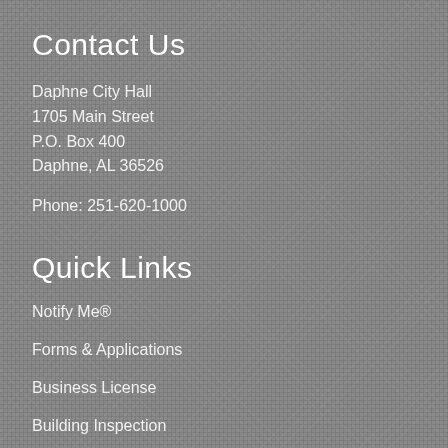Contact Us
Daphne City Hall
1705 Main Street
P.O. Box 400
Daphne, AL 36526
Phone: 251-620-1000
Quick Links
Notify Me®
Forms & Applications
Business License
Building Inspection
Building Inspection